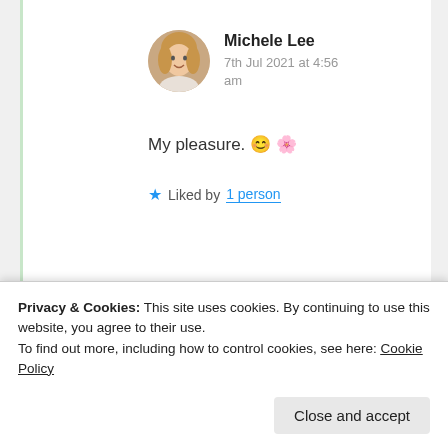Michele Lee
7th Jul 2021 at 4:56 am
My pleasure. 😊 💐
★ Liked by 1 person
Advertisements
Need a website quickly – and on a budget?
Privacy & Cookies: This site uses cookies. By continuing to use this website, you agree to their use.
To find out more, including how to control cookies, see here: Cookie Policy
Close and accept